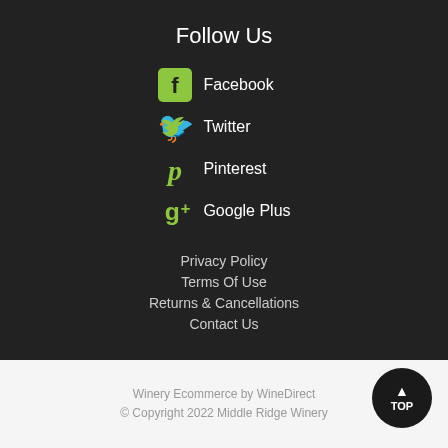Follow Us
Facebook
Twitter
Pinterest
Google Plus
Privacy Policy
Terms Of Use
Returns & Cancellations
Contact Us
Winery Ecommerce by WineDirect
© Copyright 2022 Middle Ridge Winery